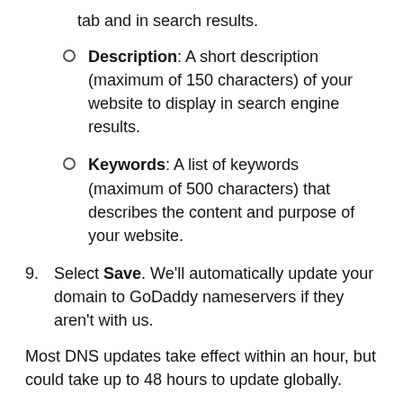tab and in search results.
Description: A short description (maximum of 150 characters) of your website to display in search engine results.
Keywords: A list of keywords (maximum of 500 characters) that describes the content and purpose of your website.
9. Select Save. We'll automatically update your domain to GoDaddy nameservers if they aren't with us.
Most DNS updates take effect within an hour, but could take up to 48 hours to update globally.
Related step